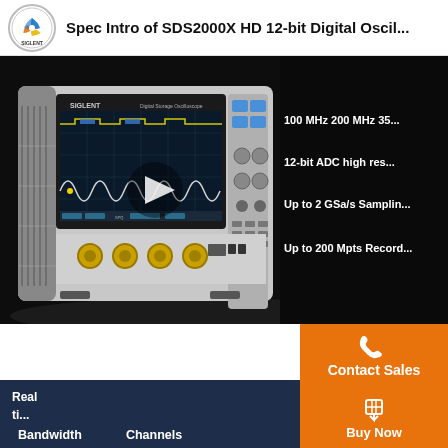Spec Intro of SDS2000X HD 12-bit Digital Oscil...
[Figure (photo): SIGLENT SDS2000X HD 12-bit Digital Oscilloscope shown from front-left angle with display showing waveforms, on dark background. Play button overlay visible in center.]
100 MHz 200 MHz 35...
12-bit ADC high res...
Up to 2 GSa/s Samplin...
Up to 200 Mpts Record...
[Figure (logo): Contact Sales button with phone icon on orange background]
Contact Sales
Real
ti...
sam...
ra...
Bandwidth   Channels
[Figure (logo): Buy Now button with shopping cart icon on orange background]
Buy Now